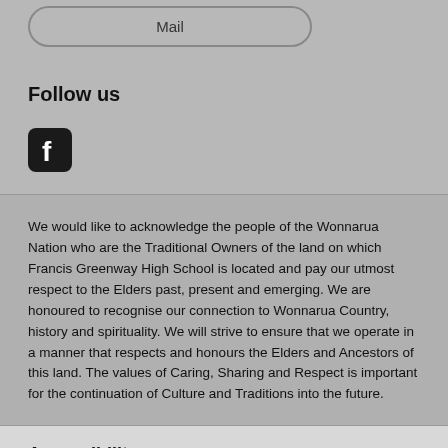[Figure (other): UI input button labeled 'Mail' with rounded pill border on grey background]
Follow us
[Figure (logo): Facebook icon - rounded square with white 'f' logo]
We would like to acknowledge the people of the Wonnarua Nation who are the Traditional Owners of the land on which Francis Greenway High School is located and pay our utmost respect to the Elders past, present and emerging. We are honoured to recognise our connection to Wonnarua Country, history and spirituality. We will strive to ensure that we operate in a manner that respects and honours the Elders and Ancestors of this land. The values of Caring, Sharing and Respect is important for the continuation of Culture and Traditions into the future.
Accessibility